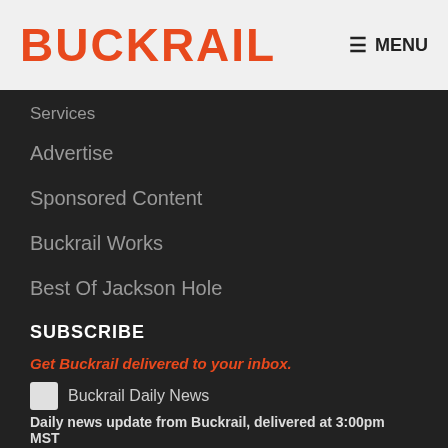BUCKRAIL  ☰ MENU
Services
Advertise
Sponsored Content
Buckrail Works
Best Of Jackson Hole
SUBSCRIBE
Get Buckrail delivered to your inbox.
Buckrail Daily News
Daily news update from Buckrail, delivered at 3:00pm MST
Weekly Roundup
Top Stories of the week delivered on Saturday morning.